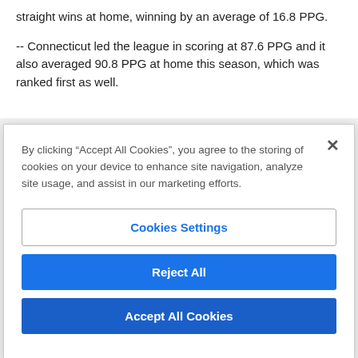straight wins at home, winning by an average of 16.8 PPG.
-- Connecticut led the league in scoring at 87.6 PPG and it also averaged 90.8 PPG at home this season, which was ranked first as well.
By clicking “Accept All Cookies”, you agree to the storing of cookies on your device to enhance site navigation, analyze site usage, and assist in our marketing efforts.
Cookies Settings
Reject All
Accept All Cookies